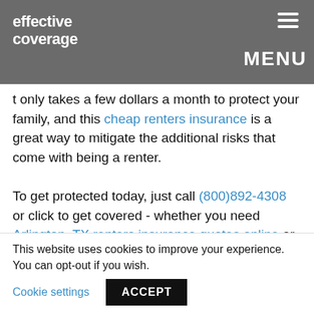effective coverage [logo] MENU
It only takes a few dollars a month to protect your family, and this cheap renters insurance is a great way to mitigate the additional risks that come with being a renter.
To get protected today, just call (800)892-4308 or click to get covered - whether you need Arlington, TX renters insurance quotes online or coverage anywhere else!
Effective Coverage offers the nation's only completely mobile platform to quote and purchase renters insurance right from your phone or tablet in just one
This website uses cookies to improve your experience. You can opt-out if you wish. Cookie settings ACCEPT